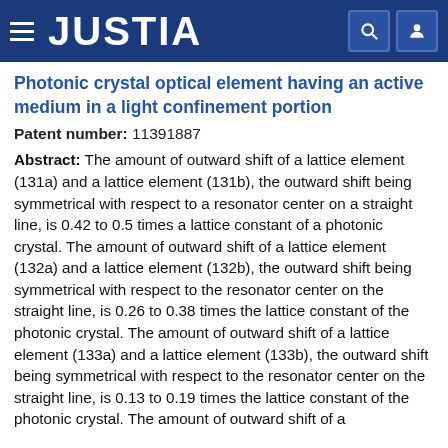JUSTIA
Photonic crystal optical element having an active medium in a light confinement portion
Patent number: 11391887
Abstract: The amount of outward shift of a lattice element (131a) and a lattice element (131b), the outward shift being symmetrical with respect to a resonator center on a straight line, is 0.42 to 0.5 times a lattice constant of a photonic crystal. The amount of outward shift of a lattice element (132a) and a lattice element (132b), the outward shift being symmetrical with respect to the resonator center on the straight line, is 0.26 to 0.38 times the lattice constant of the photonic crystal. The amount of outward shift of a lattice element (133a) and a lattice element (133b), the outward shift being symmetrical with respect to the resonator center on the straight line, is 0.13 to 0.19 times the lattice constant of the photonic crystal. The amount of outward shift of a